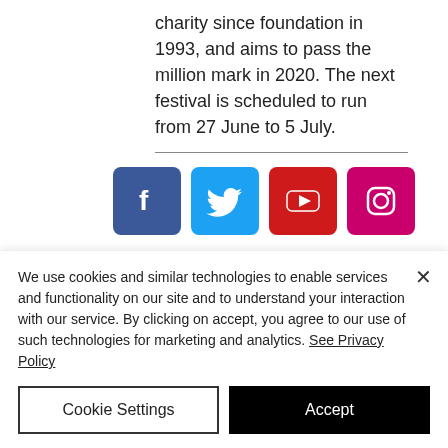charity since foundation in 1993, and aims to pass the million mark in 2020. The next festival is scheduled to run from 27 June to 5 July.
[Figure (other): Social media icons: Facebook, Twitter, YouTube, Instagram]
Quick Links
Contact Us
FAOs
We use cookies and similar technologies to enable services and functionality on our site and to understand your interaction with our service. By clicking on accept, you agree to our use of such technologies for marketing and analytics. See Privacy Policy